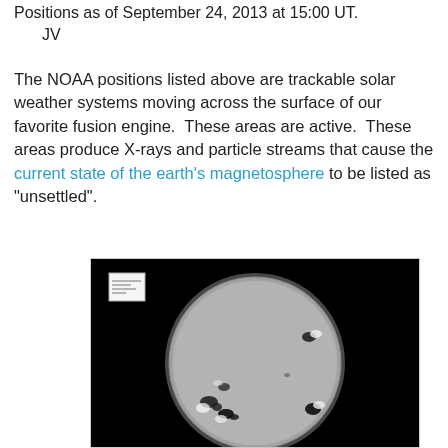Positions as of September 24, 2013 at 15:00 UT.
    JV
The NOAA positions listed above are trackable solar weather systems moving across the surface of our favorite fusion engine.  These areas are active.  These areas produce X-rays and particle streams that cause the current state of the earth's magnetosphere to be listed as "unsettled".
[Figure (photo): Grayscale solar disk image showing sunspot regions as dark and bright areas on the surface of the sun, with a black background. A small scale indicator box is visible in the upper left corner of the image.]